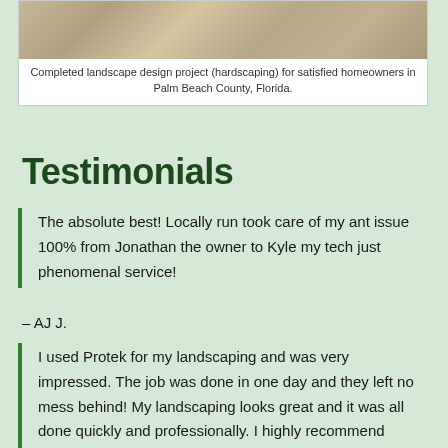[Figure (photo): Completed hardscaping/paving stones landscape design project]
Completed landscape design project (hardscaping) for satisfied homeowners in Palm Beach County, Florida.
Testimonials
The absolute best! Locally run took care of my ant issue 100% from Jonathan the owner to Kyle my tech just phenomenal service!
– AJ J.
I used Protek for my landscaping and was very impressed. The job was done in one day and they left no mess behind! My landscaping looks great and it was all done quickly and professionally. I highly recommend them!